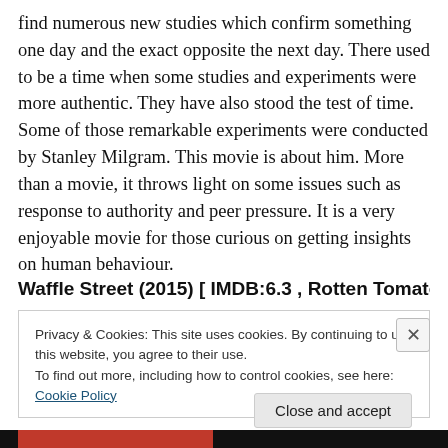find numerous new studies which confirm something one day and the exact opposite the next day. There used to be a time when some studies and experiments were more authentic. They have also stood the test of time. Some of those remarkable experiments were conducted by Stanley Milgram. This movie is about him. More than a movie, it throws light on some issues such as response to authority and peer pressure. It is a very enjoyable movie for those curious on getting insights on human behaviour.
Waffle Street (2015) [ IMDB:6.3 , Rotten Tomatoes: Not
Privacy & Cookies: This site uses cookies. By continuing to use this website, you agree to their use.
To find out more, including how to control cookies, see here: Cookie Policy